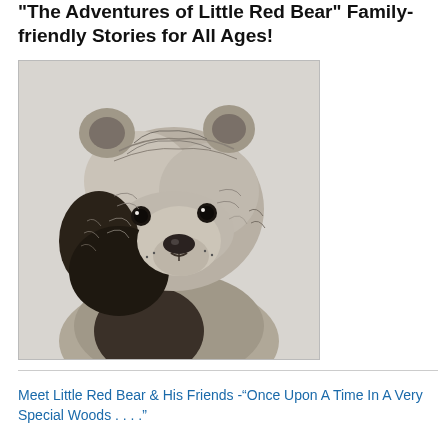"The Adventures of Little Red Bear" Family-friendly Stories for All Ages!
[Figure (illustration): A detailed pencil/charcoal sketch illustration of a bear's head and upper body, facing slightly right, with thick fur rendered in fine hatching lines on a light grey background.]
Meet Little Red Bear & His Friends -“Once Upon A Time In A Very Special Woods . . . .”